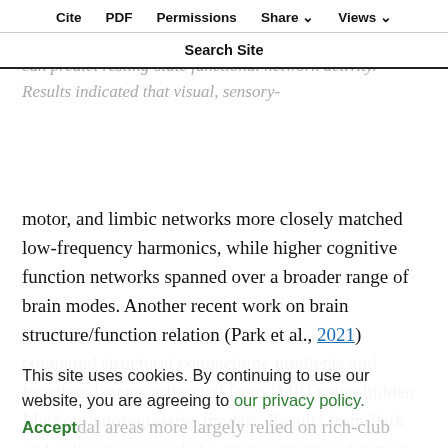Cite  PDF  Permissions  Share  Views  Search Site
harmonics through Laplacian decomposition of diffusion-weighted imaging (DWI) connectivity and showed that they can predict resting-state functional network activity. Results indicated that visual, sensory-motor, and limbic networks more closely matched low-frequency harmonics, while higher cognitive function networks spanned over a broader range of brain modes. Another recent work on brain structure/function relation (Park et al., 2021) compared structural connectome gradients and functional states estimated from fMRI using hidden Markov-autoregressive models. Results from Park and colleagues revealed a strong structure-function
This site uses cookies. By continuing to use our website, you are agreeing to our privacy policy. Accept
dal areas more largely relied on rich-club nodes